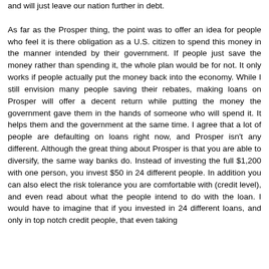and will just leave our nation further in debt.

As far as the Prosper thing, the point was to offer an idea for people who feel it is there obligation as a U.S. citizen to spend this money in the manner intended by their government. If people just save the money rather than spending it, the whole plan would be for not. It only works if people actually put the money back into the economy. While I still envision many people saving their rebates, making loans on Prosper will offer a decent return while putting the money the government gave them in the hands of someone who will spend it. It helps them and the government at the same time. I agree that a lot of people are defaulting on loans right now, and Prosper isn't any different. Although the great thing about Prosper is that you are able to diversify, the same way banks do. Instead of investing the full $1,200 with one person, you invest $50 in 24 different people. In addition you can also elect the risk tolerance you are comfortable with (credit level), and even read about what the people intend to do with the loan. I would have to imagine that if you invested in 24 different loans, and only in top notch credit people, that even taking into account defaults, you are still walking away with a better